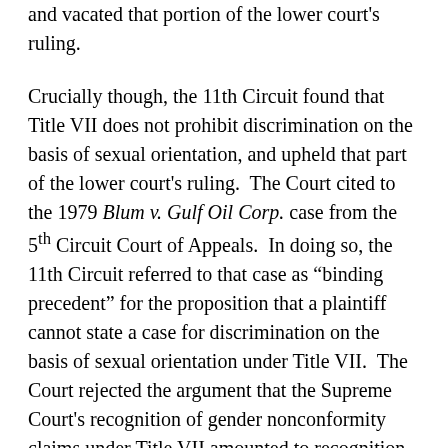and vacated that portion of the lower court's ruling.
Crucially though, the 11th Circuit found that Title VII does not prohibit discrimination on the basis of sexual orientation, and upheld that part of the lower court's ruling. The Court cited to the 1979 Blum v. Gulf Oil Corp. case from the 5th Circuit Court of Appeals. In doing so, the 11th Circuit referred to that case as “binding precedent” for the proposition that a plaintiff cannot state a case for discrimination on the basis of sexual orientation under Title VII. The Court rejected the argument that the Supreme Court's recognition of gender nonconformity claims under Title VII amounted to recognition of a claim for sexual orientation discrimination. In deciding that Title VII did not allow for such a cause of action, the 11th Circuit adopted the